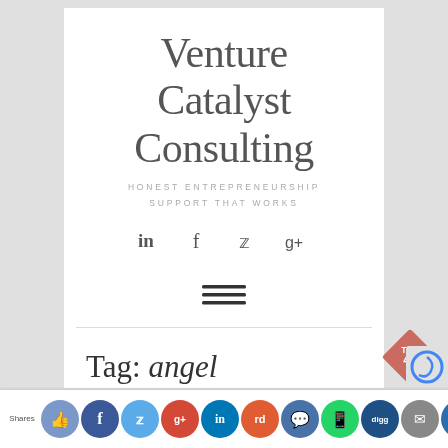Venture Catalyst Consulting
HONEST ENTREPRENEURSHIP SUPPORT THAT WORKS
[Figure (other): Social media icons: LinkedIn, Facebook, Twitter, Google+]
[Figure (other): Hamburger menu icon with three horizontal lines]
Tag: angel investment
Shares [social share buttons: like, facebook, twitter, google+, linkedin, reddit, chat, whatsapp, digg, email, bookmark]